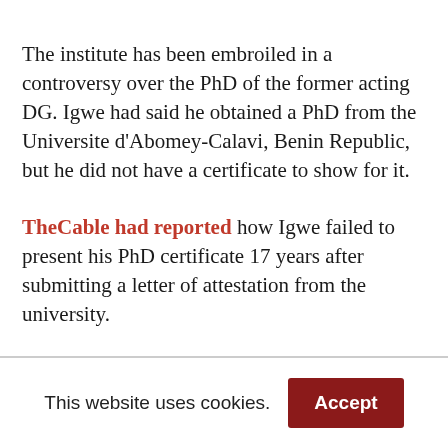The institute has been embroiled in a controversy over the PhD of the former acting DG. Igwe had said he obtained a PhD from the Universite d'Abomey-Calavi, Benin Republic, but he did not have a certificate to show for it.
TheCable had reported how Igwe failed to present his PhD certificate 17 years after submitting a letter of attestation from the university.
Before his appointment as the acting DG in May...
This website uses cookies. Accept